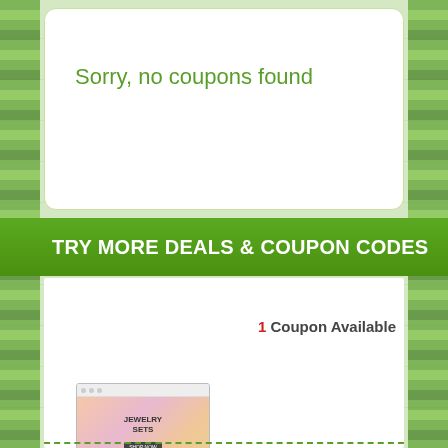Sorry, no coupons found
TRY MORE DEALS & COUPON CODES
1 Coupon Available
[Figure (screenshot): Screenshot of Towne & Reese jewelry website showing a promotional banner for Jewelry Sets with a Shop Now button and a large '00' graphic.]
Towne & Reese